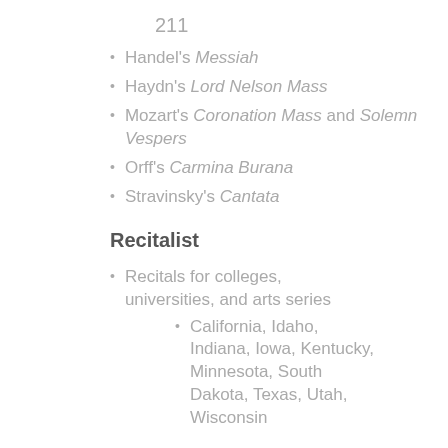211
Handel's Messiah
Haydn's Lord Nelson Mass
Mozart's Coronation Mass and Solemn Vespers
Orff's Carmina Burana
Stravinsky's Cantata
Recitalist
Recitals for colleges, universities, and arts series
California, Idaho, Indiana, Iowa, Kentucky, Minnesota, South Dakota, Texas, Utah, Wisconsin